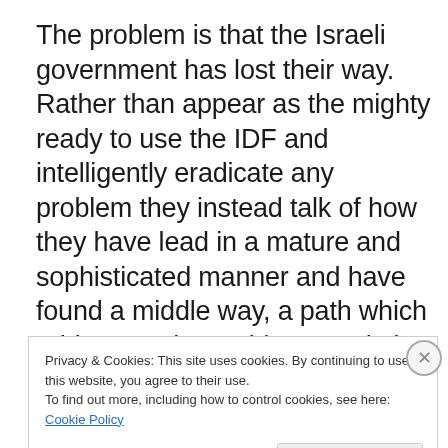The problem is that the Israeli government has lost their way. Rather than appear as the mighty ready to use the IDF and intelligently eradicate any problem they instead talk of how they have lead in a mature and sophisticated manner and have found a middle way, a path which addresses the problems and also keeps in mind the considerations of operating in a multicultural world and able to retain the approval and respect of the rest of the
Privacy & Cookies: This site uses cookies. By continuing to use this website, you agree to their use. To find out more, including how to control cookies, see here: Cookie Policy
Close and accept